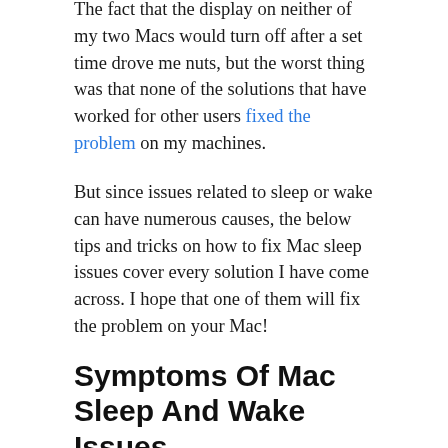The fact that the display on neither of my two Macs would turn off after a set time drove me nuts, but the worst thing was that none of the solutions that have worked for other users fixed the problem on my machines.
But since issues related to sleep or wake can have numerous causes, the below tips and tricks on how to fix Mac sleep issues cover every solution I have come across. I hope that one of them will fix the problem on your Mac!
Symptoms Of Mac Sleep And Wake Issues
Before we dive into the potential solutions of Mac sleep and wake issues, let's discuss how those symptoms present.